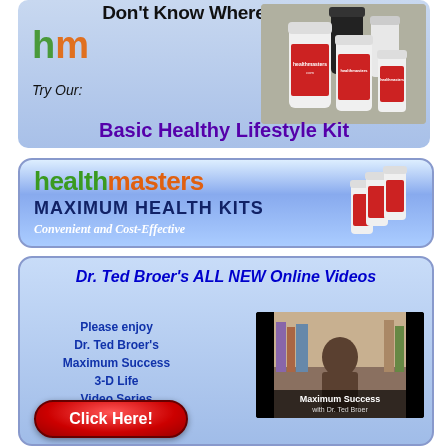[Figure (illustration): Advertisement banner: 'Don't Know Where to Start?' with hm logo, supplement bottles image, 'Try Our: Basic Healthy Lifestyle Kit' text on blue gradient background]
[Figure (illustration): healthmasters MAXIMUM HEALTH KITS banner: 'Convenient and Cost-Effective' with supplement bottles on blue gradient background]
[Figure (illustration): Dr. Ted Broer's ALL NEW Online Videos banner with video thumbnail of Maximum Success with Dr. Ted Broer, text 'Please enjoy Dr. Ted Broer's Maximum Success 3-D Life Video Series' and red Click Here button]